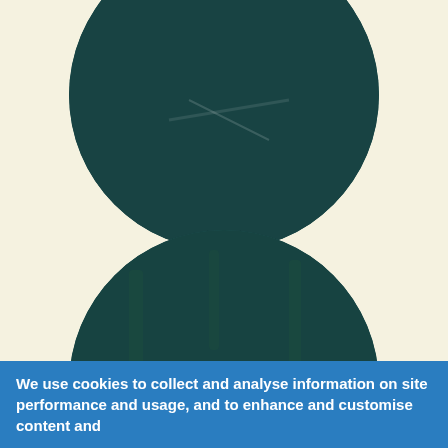[Figure (photo): Circular photo with dark teal overlay showing a person, with text OFFICIALS centered at the top]
[Figure (photo): Circular photo with dark teal overlay showing a couple outdoors in a garden setting, with text COUPLES centered near the bottom]
We use cookies to collect and analyse information on site performance and usage, and to enhance and customise content and